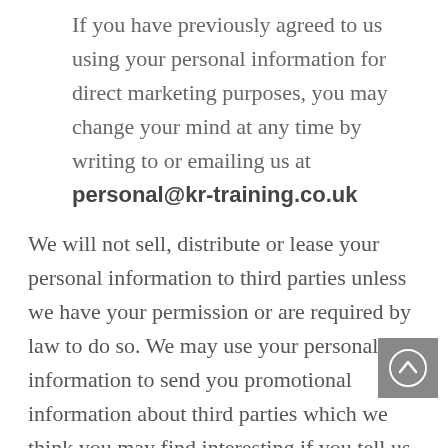If you have previously agreed to us using your personal information for direct marketing purposes, you may change your mind at any time by writing to or emailing us at personal@kr-training.co.uk
We will not sell, distribute or lease your personal information to third parties unless we have your permission or are required by law to do so. We may use your personal information to send you promotional information about third parties which we think you may find interesting if you tell us that you wish this to happen.
You may request details of personal information which we hold about you under the Data Protection Act 1998.